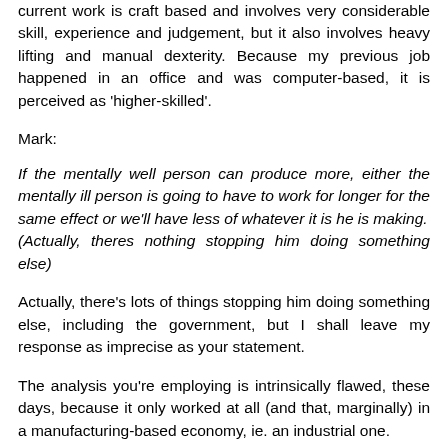current work is craft based and involves very considerable skill, experience and judgement, but it also involves heavy lifting and manual dexterity. Because my previous job happened in an office and was computer-based, it is perceived as 'higher-skilled'.
Mark:
If the mentally well person can produce more, either the mentally ill person is going to have to work for longer for the same effect or we'll have less of whatever it is he is making.
(Actually, theres nothing stopping him doing something else)
Actually, there's lots of things stopping him doing something else, including the government, but I shall leave my response as imprecise as your statement.
The analysis you're employing is intrinsically flawed, these days, because it only worked at all (and that, marginally) in a manufacturing-based economy, ie. an industrial one.